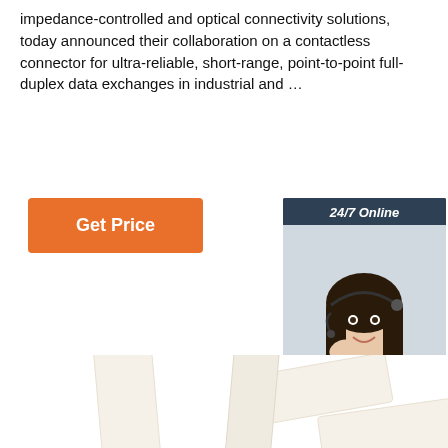impedance-controlled and optical connectivity solutions, today announced their collaboration on a contactless connector for ultra-reliable, short-range, point-to-point full-duplex data exchanges in industrial and …
[Figure (other): Orange 'Get Price' button]
[Figure (other): 24/7 Online chat widget with woman wearing headset, 'Click here for free chat!' and 'QUOTATION' button]
[Figure (photo): White ceramic/composite rectangular tile-shaped connector components photographed on white background, with a 'TOP' badge in the lower right corner]